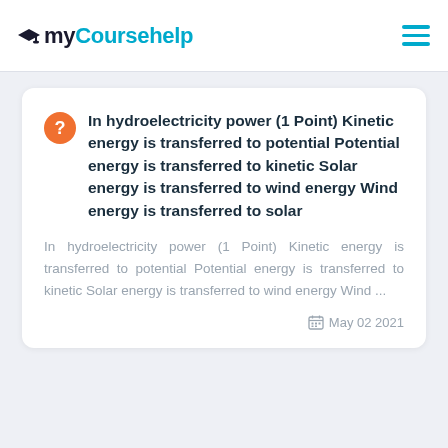myCoursehelp
In hydroelectricity power (1 Point) Kinetic energy is transferred to potential Potential energy is transferred to kinetic Solar energy is transferred to wind energy Wind energy is transferred to solar
In hydroelectricity power (1 Point) Kinetic energy is transferred to potential Potential energy is transferred to kinetic Solar energy is transferred to wind energy Wind ...
May 02 2021